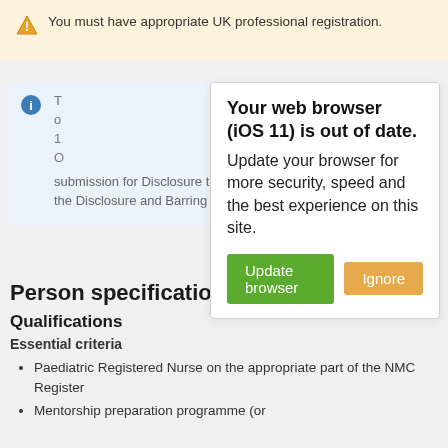You must have appropriate UK professional registration.
[Figure (screenshot): Browser update popup overlay: 'Your web browser (iOS 11) is out of date. Update your browser for more security, speed and the best experience on this site.' with green 'Update browser' button and orange 'Ignore' button.]
submission for Disclosure to be made to the Disclosure and Barring Service.
Person specification
Qualifications
Essential criteria
Paediatric Registered Nurse on the appropriate part of the NMC Register
Mentorship preparation programme (or